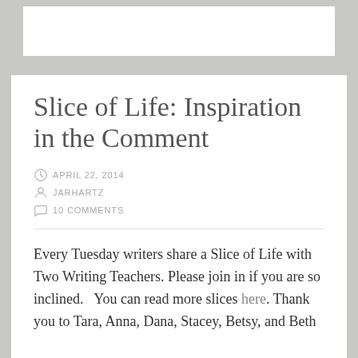Slice of Life: Inspiration in the Comment
APRIL 22, 2014
JARHARTZ
10 COMMENTS
Every Tuesday writers share a Slice of Life with Two Writing Teachers. Please join in if you are so inclined.   You can read more slices here. Thank you to Tara, Anna, Dana, Stacey, Betsy, and Beth